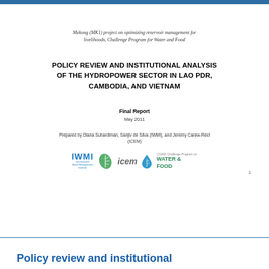Mekong (MK1) project on optimizing reservoir management for livelihoods, Challenge Program for Water and Food
POLICY REVIEW AND INSTITUTIONAL ANALYSIS OF THE HYDROPOWER SECTOR IN LAO PDR, CAMBODIA, AND VIETNAM
Final Report
May 2011
Prepared by Diana Suhardiman, Sanjiv de Silva (IWMI), and Jeremy Carew-Reid (ICEM)
[Figure (logo): IWMI, icem, and CGIAR Challenge Program on Water & Food logos]
1
Policy review and institutional